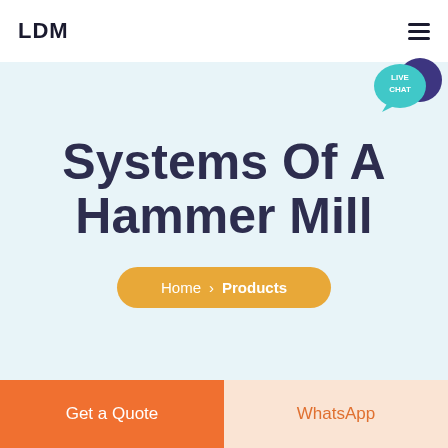LDM
[Figure (logo): LDM logo and hamburger menu navigation icon in page header]
Systems Of A Hammer Mill
Home > Products
[Figure (infographic): Live Chat speech bubble icon in teal/purple]
Get a Quote
WhatsApp